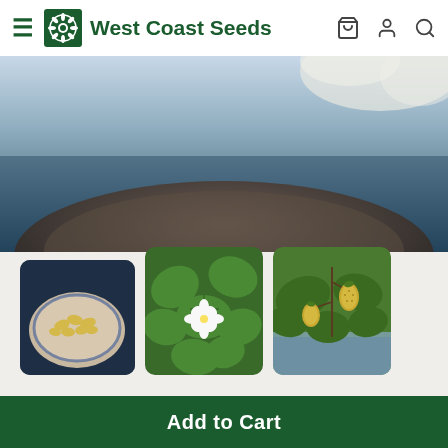West Coast Seeds
[Figure (photo): Hero image showing a plate with cauliflower on a dark blue background]
[Figure (photo): Three thumbnail images: yellow alpine strawberries on a plate, green strawberry plant leaves with white flower, strawberry plant with yellow unripe fruit on vine]
Flower Seeds › Fruit Seeds › Yellow Wonder Alpine Strawberry Seeds
★★★★★  6 Reviews
Yellow Wonder
Add to Cart